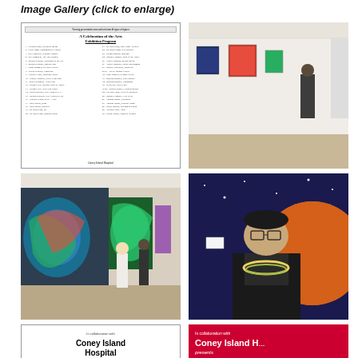Image Gallery (click to enlarge)
[Figure (other): Exhibition program document for 'A Celebration of the Arts' at Coney Island Hospital listing artworks and artists in two columns]
[Figure (photo): Art gallery hallway interior with framed artworks on white walls and a person viewing them]
[Figure (photo): Art gallery hallway with large colorful paintings hanging on walls and visitors walking through]
[Figure (photo): Man wearing glasses and a lei necklace standing in front of colorful artwork]
[Figure (other): Poster: Coney Island Hospital presents A Celebration of the Arts, An exhibition of local artists]
[Figure (other): Red poster: Coney Island Hospital presents A Celebration of the Arts (partially visible)]